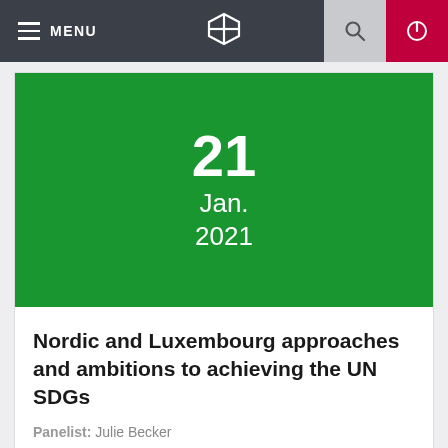MENU
[Figure (other): Green date card showing 21 Jan. 2021]
Nordic and Luxembourg approaches and ambitions to achieving the UN SDGs
Panelist: Julie Becker